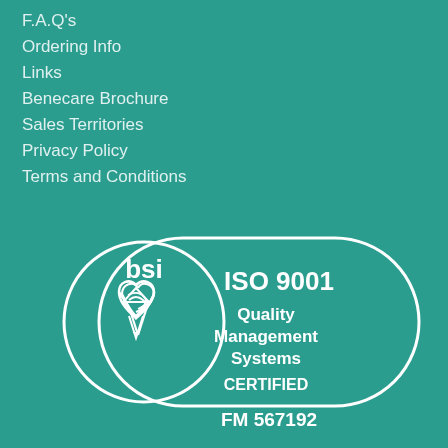F.A.Q's
Ordering Info
Links
Benecare Brochure
Sales Territories
Privacy Policy
Terms and Conditions
[Figure (logo): BSI ISO 9001 Quality Management Systems Certified logo with FM 567192 certification number. Shows BSI text, a heart/diamond BSI symbol inside a circle, connected to a rounded rectangle containing ISO 9001, Quality Management Systems, CERTIFIED, and FM 567192.]